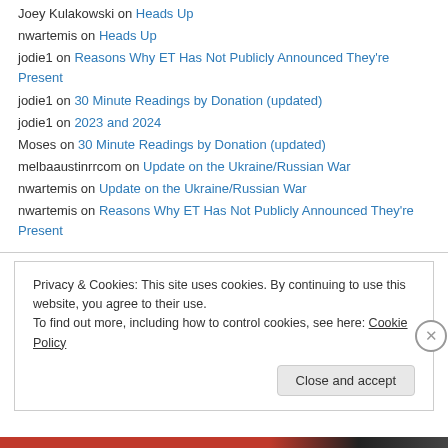Joey Kulakowski on Heads Up
nwartemis on Heads Up
jodie1 on Reasons Why ET Has Not Publicly Announced They're Present
jodie1 on 30 Minute Readings by Donation (updated)
jodie1 on 2023 and 2024
Moses on 30 Minute Readings by Donation (updated)
melbaaustinrrcom on Update on the Ukraine/Russian War
nwartemis on Update on the Ukraine/Russian War
nwartemis on Reasons Why ET Has Not Publicly Announced They're Present
Privacy & Cookies: This site uses cookies. By continuing to use this website, you agree to their use. To find out more, including how to control cookies, see here: Cookie Policy
Close and accept